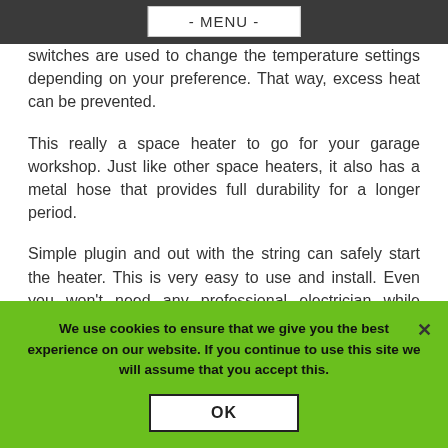- MENU -
switches are used to change the temperature settings depending on your preference. That way, excess heat can be prevented.
This really a space heater to go for your garage workshop. Just like other space heaters, it also has a metal hose that provides full durability for a longer period.
Simple plugin and out with the string can safely start the heater. This is very easy to use and install. Even you won't need any professional electrician while installing it on your
We use cookies to ensure that we give you the best experience on our website. If you continue to use this site we will assume that you accept this.
OK